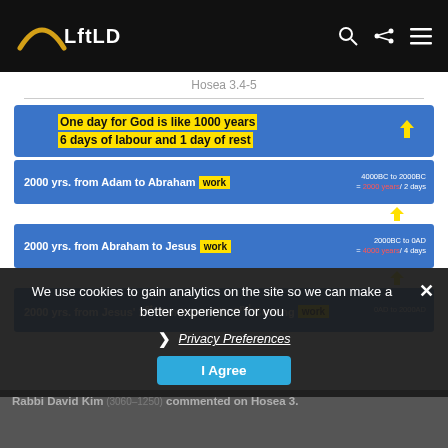LftLD
Hosea 3.4-5
[Figure (infographic): Timeline infographic showing 'One day for God is like 1000 years, 6 days of labour and 1 day of rest', with three 2000-year periods: Adam to Abraham (work), Abraham to Jesus (work), Jesus' 1st Coming to His 2nd Coming (work), with side annotations showing date ranges and year/day equivalents.]
We use cookies to gain analytics on the site so we can make a better experience for you
Privacy Preferences
I Agree